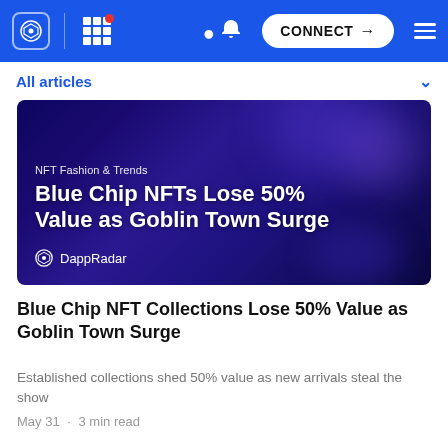DappRadar navigation bar with logo, grid menu, bell notification, CONNECT button, and hamburger menu
All articles
[Figure (photo): Dark purple/blue NFT-themed article cover image with text overlay: 'NFT Fashion & Trends' category label, 'Blue Chip NFTs Lose 50% Value as Goblin Town Surge' headline, and DappRadar logo/brand name at bottom left]
Blue Chip NFT Collections Lose 50% Value as Goblin Town Surge
Established collections shed 50% value as new arrivals steal the show
May 31 · 3 min read